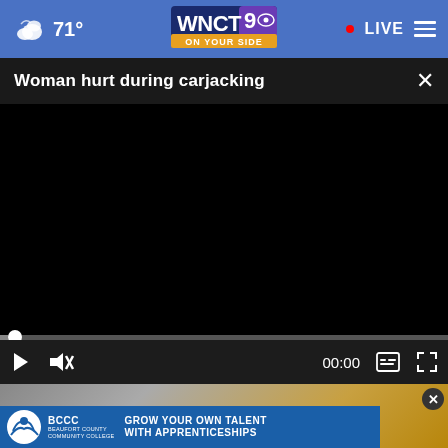71° WNCT9 ON YOUR SIDE • LIVE
Woman hurt during carjacking
[Figure (screenshot): Black video player area with timeline scrubber at start and playback controls: play button, mute button, time 00:00, captions button, fullscreen button]
[Figure (photo): Advertisement for BCCC Beaufort County Community College: GROW YOUR OWN TALENT WITH APPRENTICESHIPS, with logo and close button]